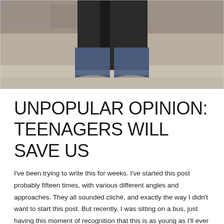[Figure (photo): A person sitting on stone steps outdoors, wearing jeans rolled up at the ankles and grey sneakers, holding a dark backpack. Only the lower body is visible.]
UNPOPULAR OPINION: TEENAGERS WILL SAVE US
I've been trying to write this for weeks. I've started this post probably fifteen times, with various different angles and approaches. They all sounded cliché, and exactly the way I didn't want to start this post. But recently, I was sitting on a bus, just having this moment of recognition that this is as young as I'll ever be.
The subject is still in the text...